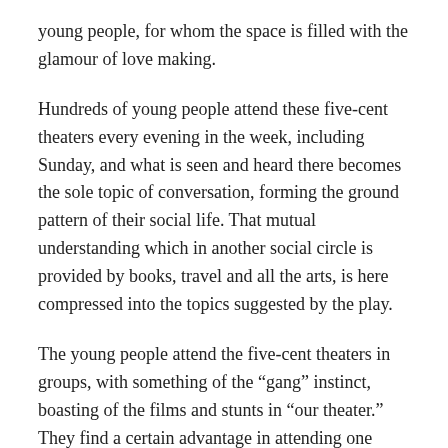young people, for whom the space is filled with the glamour of love making.
Hundreds of young people attend these five-cent theaters every evening in the week, including Sunday, and what is seen and heard there becomes the sole topic of conversation, forming the ground pattern of their social life. That mutual understanding which in another social circle is provided by books, travel and all the arts, is here compressed into the topics suggested by the play.
The young people attend the five-cent theaters in groups, with something of the “gang” instinct, boasting of the films and stunts in “our theater.” They find a certain advantage in attending one theater regularly, for the habitués are often invited to come upon the stage on “amateur nights,” which occur at least once a week in all the theaters. This is, of course, a most exciting experience. If the “stunt” does not meet with the approval of the audience, the performer is greeted with jeers and a long hook pulls